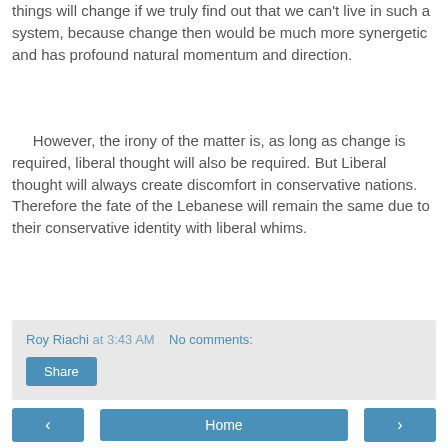things will change if we truly find out that we can't live in such a system, because change then would be much more synergetic and has profound natural momentum and direction.
However, the irony of the matter is, as long as change is required, liberal thought will also be required. But Liberal thought will always create discomfort in conservative nations. Therefore the fate of the Lebanese will remain the same due to their conservative identity with liberal whims.
Roy Riachi at 3:43 AM   No comments:
Share
‹
Home
›